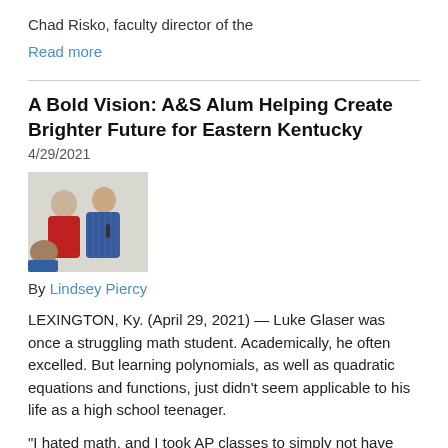Chad Risko, faculty director of the
Read more
A Bold Vision: A&S Alum Helping Create Brighter Future for Eastern Kentucky
4/29/2021
[Figure (photo): Two people standing in a room, one in a red shirt and one in a blue plaid shirt, with a third person partially visible in the foreground.]
By Lindsey Piercy
LEXINGTON, Ky. (April 29, 2021) — Luke Glaser was once a struggling math student. Academically, he often excelled. But learning polynomials, as well as quadratic equations and functions, just didn't seem applicable to his life as a high school teenager.
"I hated math, and I took AP classes to simply not have